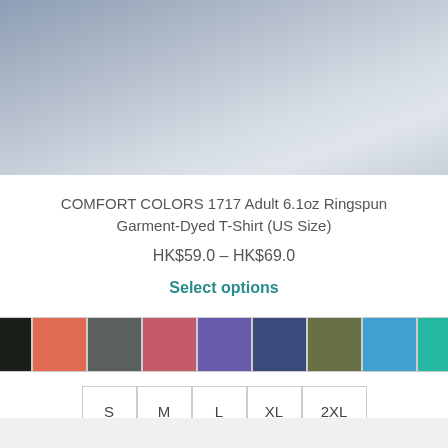[Figure (photo): Product image placeholder with blue-gray gradient background representing a t-shirt product photo]
COMFORT COLORS 1717 Adult 6.1oz Ringspun Garment-Dyed T-Shirt (US Size)
HK$59.0 – HK$69.0
Select options
[Figure (other): Color swatches: black, coral, gray, mauve, purple, navy, olive, cyan, teal]
[Figure (other): Size selector buttons: S, M, L, XL, 2XL]